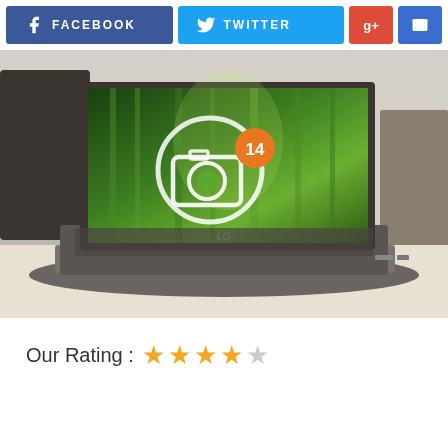[Figure (infographic): Social sharing buttons row: Facebook (dark blue), Twitter (light blue), Google+ (red), Email (blue)]
[Figure (photo): LG laptop on a desk displaying a bamboo forest wallpaper, with a camera icon overlay showing the number 14 in an orange badge]
Our Rating : ★★★★☆